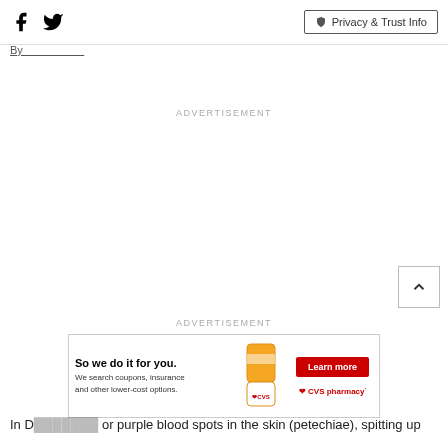Social icons (Facebook, Twitter) and Privacy & Trust Info button
By__________
ADVERTISEMENT
ADVERTISEMENT
[Figure (other): CVS Pharmacy advertisement banner: 'So we do it for you. We search coupons, insurance and other lower-cost options.' with Learn more button and CVS pharmacy logo]
In D... or purple blood spots in the skin (petechiae), spitting up